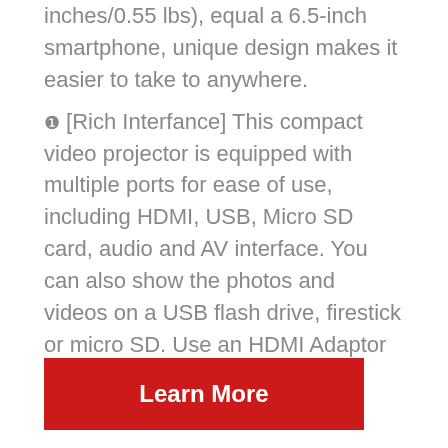inches/0.55 lbs), equal a 6.5-inch smartphone, unique design makes it easier to take to anywhere.
❶ [Rich Interfance] This compact video projector is equipped with multiple ports for ease of use, including HDMI, USB, Micro SD card, audio and AV interface. You can also show the photos and videos on a USB flash drive, firestick or micro SD. Use an HDMI Adaptor to project your smartphone easily(not include).
Learn More